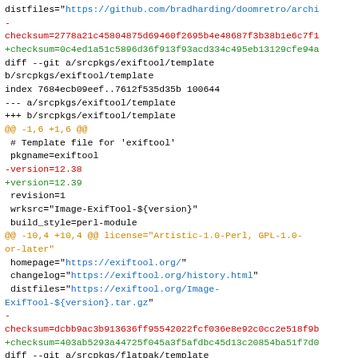distfiles="https://github.com/bradharding/doomretro/archi-
checksum=2778a21c45804875d69460f2695b4e48687f3b38b1e6c7f1
+checksum=0c4ed1a51c5896d36f913f93acd334c495eb13129cfe94a
diff --git a/srcpkgs/exiftool/template
b/srcpkgs/exiftool/template
index 7684ecb09eef..7612f535d35b 100644
--- a/srcpkgs/exiftool/template
+++ b/srcpkgs/exiftool/template
@@ -1,6 +1,6 @@
 # Template file for 'exiftool'
 pkgname=exiftool
-version=12.38
+version=12.39
 revision=1
 wrksrc="Image-ExifTool-${version}"
 build_style=perl-module
@@ -10,4 +10,4 @@ license="Artistic-1.0-Perl, GPL-1.0-or-later"
 homepage="https://exiftool.org/"
 changelog="https://exiftool.org/history.html"
 distfiles="https://exiftool.org/Image-ExifTool-${version}.tar.gz"
-
checksum=dcbb9ac3b913636ff95542022fcf036e8e92c0cc2e518f9b
+checksum=403ab5293a44725f045a3f5afdbc45d13c20854ba51f7d0
diff --git a/srcpkgs/flatpak/template
b/srcpkgs/flatpak/template
index 87f767dff60f..e41207c5e914 100644